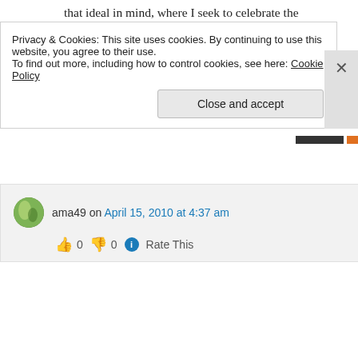that ideal in mind, where I seek to celebrate the similarities and differences of our faiths: Interfaith Enlightenment.
Again, thank you for this blog.
★ Like
↪ Reply
ama49 on April 15, 2010 at 4:37 am
👍 0 👎 0 ℹ Rate This
Privacy & Cookies: This site uses cookies. By continuing to use this website, you agree to their use.
To find out more, including how to control cookies, see here: Cookie Policy
Close and accept